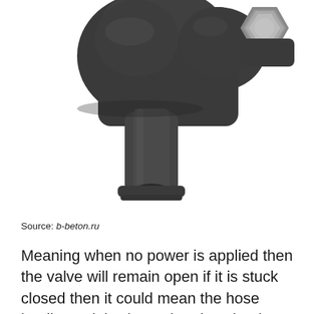[Figure (photo): Close-up photo of a black plastic automotive vent valve / solenoid valve component with a tubular nozzle at the bottom and a hexagonal metal fitting at the top right, photographed against a white background.]
Source: b-beton.ru
Meaning when no power is applied then the valve will remain open if it is stuck closed then it could mean the hose leading to it is clogged or the wire that controls the valve is shorted to power. The most common problem with the vent valve is when it sticks